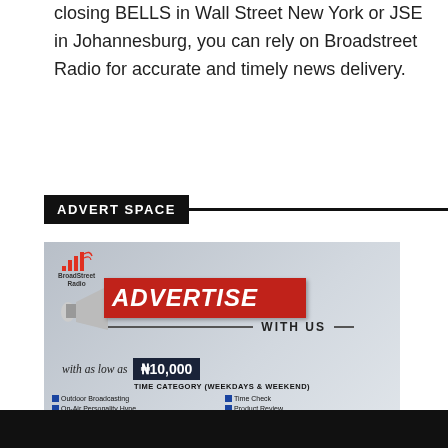closing BELLS in Wall Street New York or JSE in Johannesburg, you can rely on Broadstreet Radio for accurate and timely news delivery.
ADVERT SPACE
[Figure (infographic): BroadStreet Radio 'Advertise With Us' promotional banner. Shows logo with bar chart icon, megaphone graphic, red banner saying ADVERTISE WITH US, pricing starting at ₦10,000, time category listing (weekdays & weekend) with two columns of services: Outdoor Broadcasting, On-Air Personality Hype, Programme Sponsorship, News Coverage & Mention, Interview / Guest Appearance, Time Check, Product Review, Announcements, Spots Placements, News Mention Only. Terms & conditions apply.]